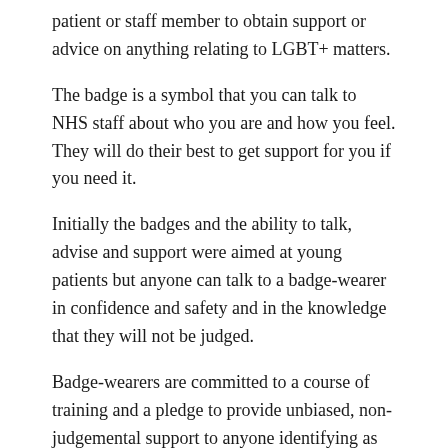patient or staff member to obtain support or advice on anything relating to LGBT+ matters.
The badge is a symbol that you can talk to NHS staff about who you are and how you feel. They will do their best to get support for you if you need it.
Initially the badges and the ability to talk, advise and support were aimed at young patients but anyone can talk to a badge-wearer in confidence and safety and in the knowledge that they will not be judged.
Badge-wearers are committed to a course of training and a pledge to provide unbiased, non-judgemental support to anyone identifying as LGBT+ before they are issued a badge.